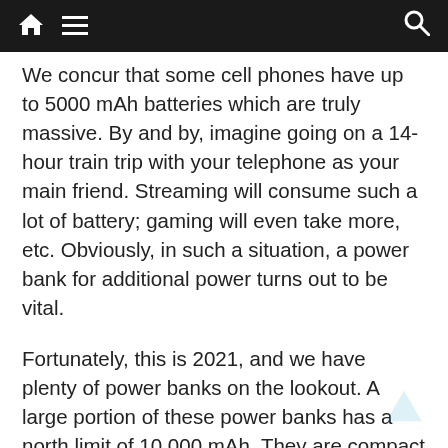Navigation bar with home, menu, and search icons
We concur that some cell phones have up to 5000 mAh batteries which are truly massive. By and by, imagine going on a 14-hour train trip with your telephone as your main friend. Streaming will consume such a lot of battery; gaming will even take more, etc. Obviously, in such a situation, a power bank for additional power turns out to be vital.
Fortunately, this is 2021, and we have plenty of power banks on the lookout. A large portion of these power banks has a north limit of 10,000 mAh. They are compact and can flawlessly squeeze into your pocket or handbag. You might get a convenient 20,000 mAh power bank. The average load of a 10,000 power bank is around 180g. It is about the heaviness of a significant number on the